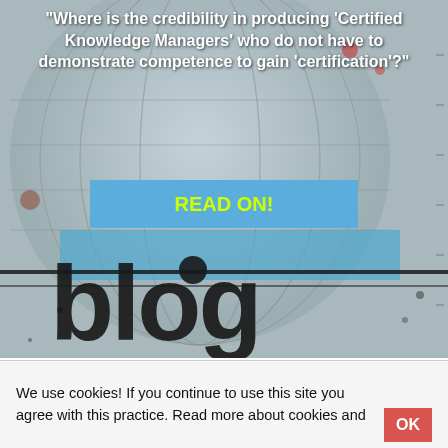[Figure (illustration): Blog header image with a globe/world illustration background in muted blue-grey tones with splattered ink effects, showing partial text 'blog' in large grunge-style font at the bottom]
"Where is the credibility in producing 'Certified Knowledge Managers' who do not have to demonstrate competence to gain 'certification'?"
READ ON!
We use cookies! If you continue to use this site you agree with this practice. Read more about cookies and